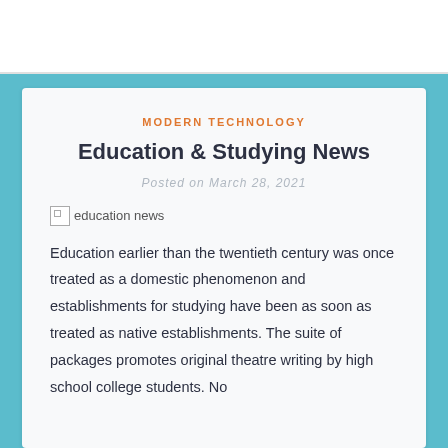MODERN TECHNOLOGY
Education & Studying News
Posted on March 28, 2021
[Figure (photo): Broken image placeholder with alt text 'education news']
Education earlier than the twentieth century was once treated as a domestic phenomenon and establishments for studying have been as soon as treated as native establishments. The suite of packages promotes original theatre writing by high school college students. No